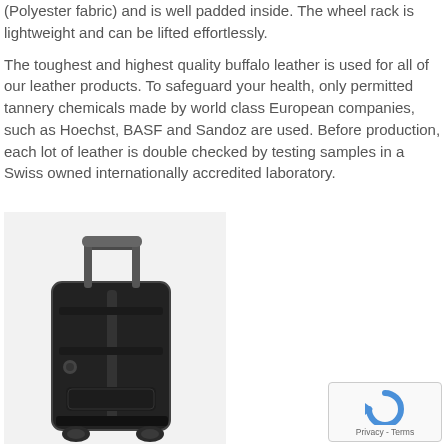(Polyester fabric) and is well padded inside. The wheel rack is lightweight and can be lifted effortlessly.
The toughest and highest quality buffalo leather is used for all of our leather products. To safeguard your health, only permitted tannery chemicals made by world class European companies, such as Hoechst, BASF and Sandoz are used. Before production, each lot of leather is double checked by testing samples in a Swiss owned internationally accredited laboratory.
[Figure (photo): A black wheeled luggage/trolley bag with extended handle, viewed from the back, showing straps and wheels on a light background.]